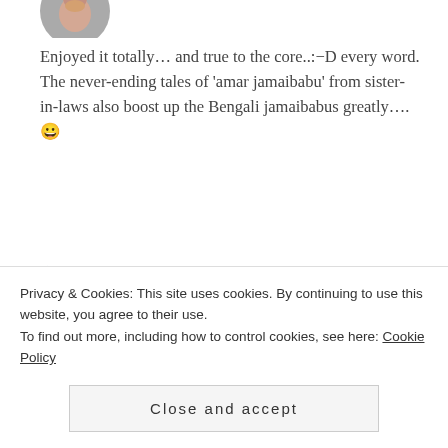[Figure (photo): Partial circular avatar photo at top, cropped]
Enjoyed it totally… and true to the core..:−D every word. The never-ending tales of 'amar jamaibabu' from sister-in-laws also boost up the Bengali jamaibabus greatly.... 😀
★ Liked by 1 person
Rate This
REPLY
[Figure (illustration): Five empty star rating icons followed by a blue info circle icon]
[Figure (photo): Circular avatar of Meghpeon commenter, partially visible]
Meghpeon
MAY 24, 2015 AT 7:42 PM
Privacy & Cookies: This site uses cookies. By continuing to use this website, you agree to their use.
To find out more, including how to control cookies, see here: Cookie Policy
Close and accept